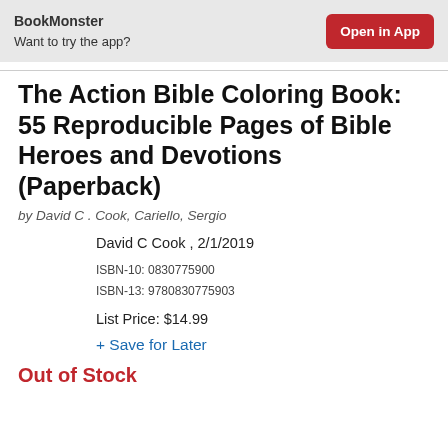BookMonster
Want to try the app?
The Action Bible Coloring Book: 55 Reproducible Pages of Bible Heroes and Devotions (Paperback)
by David C . Cook, Cariello, Sergio
David C Cook , 2/1/2019
ISBN-10: 0830775900
ISBN-13: 9780830775903
List Price: $14.99
+ Save for Later
Out of Stock